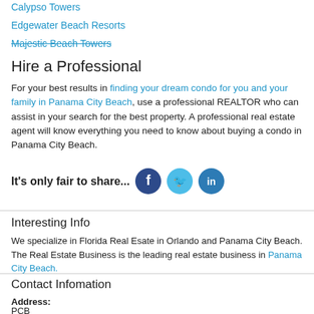Calypso Towers
Edgewater Beach Resorts
Majestic Beach Towers
Hire a Professional
For your best results in finding your dream condo for you and your family in Panama City Beach, use a professional REALTOR who can assist in your search for the best property. A professional real estate agent will know everything you need to know about buying a condo in Panama City Beach.
It's only fair to share...
Interesting Info
We specialize in Florida Real Esate in Orlando and Panama City Beach. The Real Estate Business is the leading real estate business in Panama City Beach.
Contact Infomation
Address: PCB 4418 W. US 98